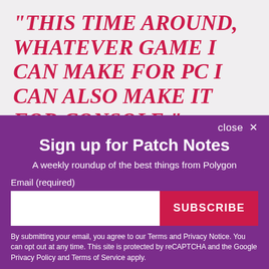"THIS TIME AROUND, WHATEVER GAME I CAN MAKE FOR PC I CAN ALSO MAKE IT FOR CONSOLE."
The result, Wardell said, is many console developers
close ✕
Sign up for Patch Notes
A weekly roundup of the best things from Polygon
Email (required)
SUBSCRIBE
By submitting your email, you agree to our Terms and Privacy Notice. You can opt out at any time. This site is protected by reCAPTCHA and the Google Privacy Policy and Terms of Service apply.